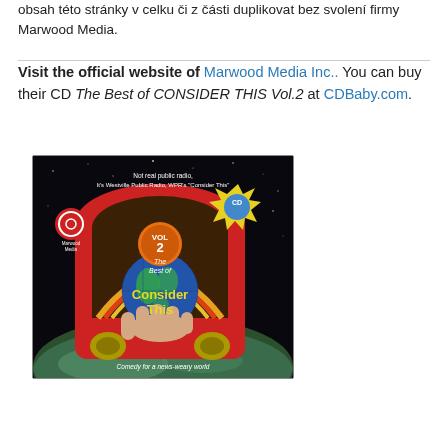obsah této stránky v celku či z části duplikovat bez svolení firmy Marwood Media.
Visit the official website of Marwood Media Inc.. You can buy their CD The Best of CONSIDER THIS Vol.2 at CDBaby.com.
[Figure (illustration): CD cover art for 'The Best of Consider This Vol. 2' by Marwood Media. Shows a jukebox-style radio with a hand holding a globe, against a space background. Text: 'Not real public radio, It's Westville Public Radio, WPR's "Consider This"', 'VOL 2', 'The Best of Consider This', 'Comedy for a news-weary world', Marwood Media logo, CD badge.]